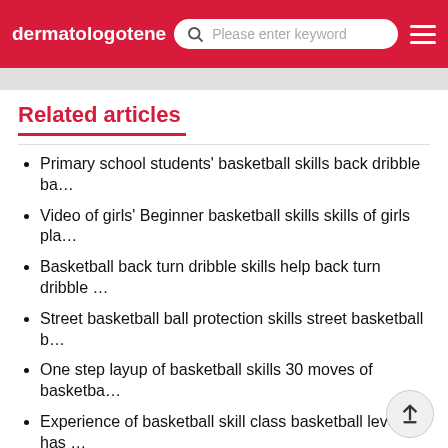dermatologotene   Please enter keyword
Related articles
Primary school students' basketball skills back dribble ba…
Video of girls' Beginner basketball skills skills of girls pla…
Basketball back turn dribble skills help back turn dribble …
Street basketball ball protection skills street basketball b…
One step layup of basketball skills 30 moves of basketba…
Experience of basketball skill class basketball level has …
Practice a basketball skill every day better control and co…
Sichuan basketball skills teaching video
45 year old man's basketball skills but better than beg…
Basketball skills post bar who can master the initiative of…